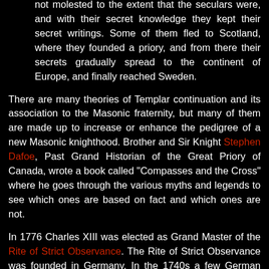not molested to the extent that the seculars were, and with their secret knowledge they kept their secret writings. Some of them fled to Scotland, where they founded a priory, and from there their secrets gradually spread to the continent of Europe, and finally reached Sweden.
There are many theories of Templar continuation and its association to the Masonic fraternity, but many of them are made up to increase or enhance the pedigree of a new Masonic knighthood. Brother and Sir Knight Stephen Dafoe, Past Grand Historian of the Great Priory of Canada, wrote a book called "Compasses and the Cross" where he goes through the various myths and legends to see which ones are based on fact and which ones are not.
In 1776 Charles XIII was elected as Grand Master of the Rite of Strict Observance. The Rite of Strict Observance was founded in Germany. In the 1740s a few German Lodges started giving their Entered Apprentices and Fellow Crafts the names of French Knights. Most of these Lodges were in Dresden, but Baron von Hund founded one of these Lodges on his estates East of Dresden around 1751. It was from the